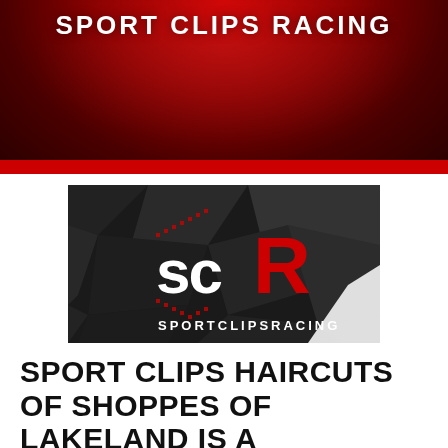SPORT CLIPS RACING
[Figure (logo): Sport Clips Racing (SCR) logo on dark geometric polygon background. Large 'sc' in white and 'R' in red forming 'scR', with 'SPORTCLIPSRACING' text underneath in white.]
SPORT CLIPS HAIRCUTS OF SHOPPES OF LAKELAND IS A